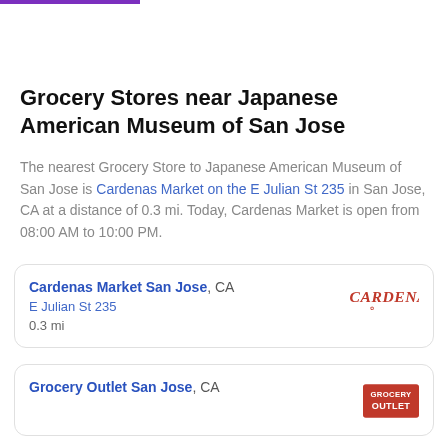Grocery Stores near Japanese American Museum of San Jose
The nearest Grocery Store to Japanese American Museum of San Jose is Cardenas Market on the E Julian St 235 in San Jose, CA at a distance of 0.3 mi. Today, Cardenas Market is open from 08:00 AM to 10:00 PM.
Cardenas Market San Jose, CA
E Julian St 235
0.3 mi
Grocery Outlet San Jose, CA